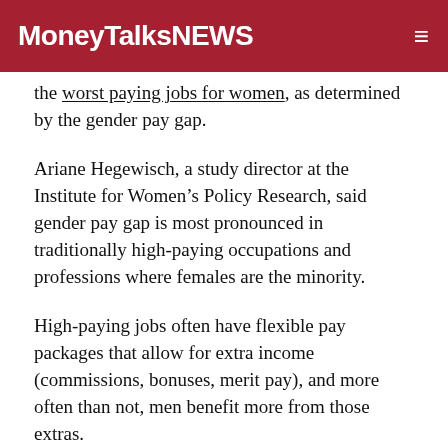MoneyTalksNEWS
the worst paying jobs for women, as determined by the gender pay gap.
Ariane Hegewisch, a study director at the Institute for Women’s Policy Research, said gender pay gap is most pronounced in traditionally high-paying occupations and professions where females are the minority.
High-paying jobs often have flexible pay packages that allow for extra income (commissions, bonuses, merit pay), and more often than not, men benefit more from those extras.
24/7 Wall St. said: